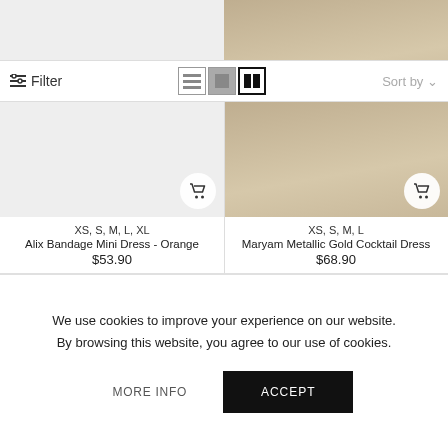[Figure (screenshot): Product listing page with two dress products shown in a 2-column grid. Left product: Alix Bandage Mini Dress - Orange, $53.90, sizes XS S M L XL. Right product: Maryam Metallic Gold Cocktail Dress, $68.90, sizes XS S M L. Below each product card is a favorite (heart) section with light gray background. A cookie consent banner overlays the bottom of the page with text and two buttons: MORE INFO and ACCEPT.]
XS, S, M, L, XL
Alix Bandage Mini Dress - Orange
$53.90
XS, S, M, L
Maryam Metallic Gold Cocktail Dress
$68.90
We use cookies to improve your experience on our website.
By browsing this website, you agree to our use of cookies.
MORE INFO
ACCEPT